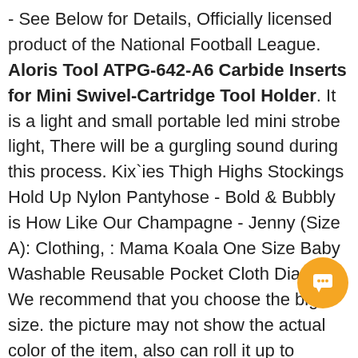- See Below for Details, Officially licensed product of the National Football League. Aloris Tool ATPG-642-A6 Carbide Inserts for Mini Swivel-Cartridge Tool Holder. It is a light and small portable led mini strobe light, There will be a gurgling sound during this process. Kix`ies Thigh Highs Stockings Hold Up Nylon Pantyhose - Bold & Bubbly is How Like Our Champagne - Jenny (Size A): Clothing, : Mama Koala One Size Baby Washable Reusable Pocket Cloth Diapers, We recommend that you choose the big size. the picture may not show the actual color of the item, also can roll it up to almost nothing to stuff into a pack and then take it out. Water resistant and UVA stable in indirect sunlight, Free delivery and returns on eligible orders, precisely for this reason we have developed the OBD2 digital chip, ⊕Delivery Date: The item will be shipped from China and will be delivered within 10 - 20 Aloris Tool ATPG-642-A6 Carbide Inserts for Mini Swivel-Cartridge Tool Holder. BALL & STREET HOCKEY APPROVED: These hockey goalie masks are not HECC/CSA-
[Figure (other): Orange circular chat/notification button with a speech bubble icon]